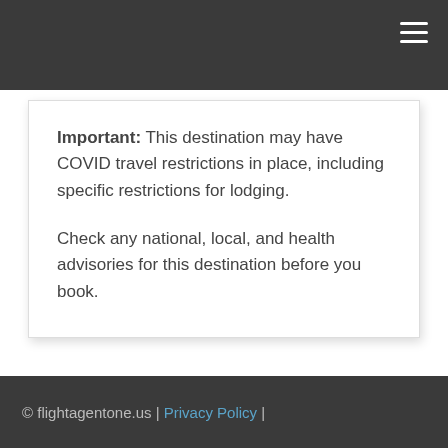Important: This destination may have COVID travel restrictions in place, including specific restrictions for lodging.

Check any national, local, and health advisories for this destination before you book.
© flightagentone.us | Privacy Policy |